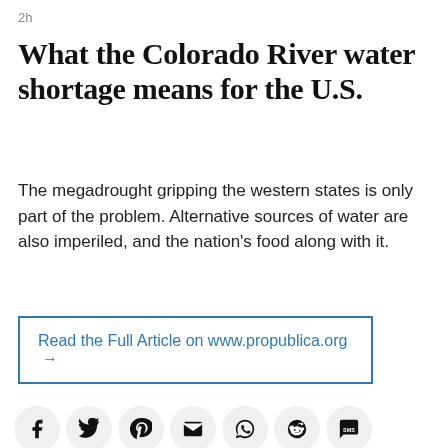2h
What the Colorado River water shortage means for the U.S.
The megadrought gripping the western states is only part of the problem. Alternative sources of water are also imperiled, and the nation's food along with it.
Read the Full Article on www.propublica.org →
[Figure (infographic): Row of social media sharing icons: Facebook, Twitter, Pinterest, Email, WhatsApp, Reddit, SMS]
[Figure (photo): Exterior photograph of a large neoclassical government building with tall columns, taken from street level looking up at the facade.]